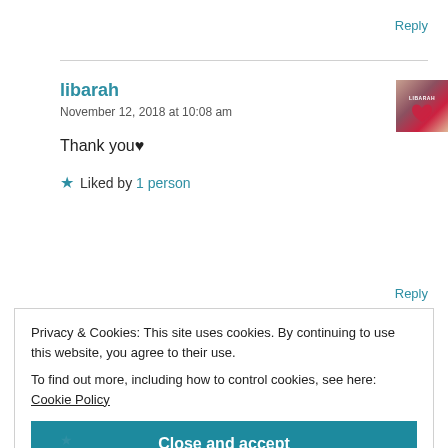Reply
libarah
November 12, 2018 at 10:08 am
[Figure (photo): Avatar thumbnail showing a person with red heart, with text 'LIBARAH' overlay]
Thank you♥
★ Liked by 1 person
Reply
Privacy & Cookies: This site uses cookies. By continuing to use this website, you agree to their use.
To find out more, including how to control cookies, see here: Cookie Policy
Close and accept
★